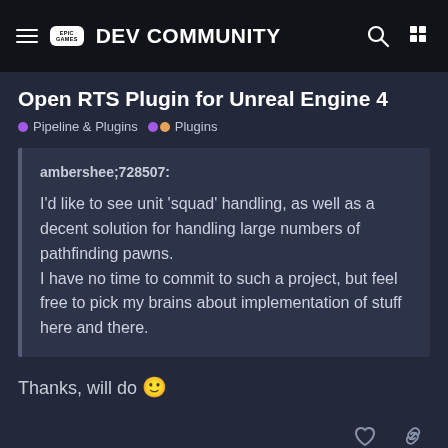EPIC GAMES DEV COMMUNITY
Open RTS Plugin for Unreal Engine 4
Pipeline & Plugins   Plugins
ambershee;728507:

I'd like to see unit 'squad' handling, as well as a decent solution for handling large numbers of pathfinding pawns.
I have no time to commit to such a project, but feel free to pick my brains about implementation of stuff here and there.
Thanks, will do 🙂
OverRated_All   7 / 108